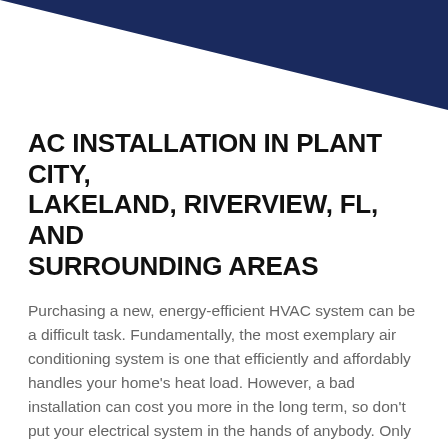[Figure (other): Dark navy blue triangular banner graphic in the top-right corner of the page]
AC INSTALLATION IN PLANT CITY, LAKELAND, RIVERVIEW, FL, AND SURROUNDING AREAS
Purchasing a new, energy-efficient HVAC system can be a difficult task. Fundamentally, the most exemplary air conditioning system is one that efficiently and affordably handles your home's heat load. However, a bad installation can cost you more in the long term, so don't put your electrical system in the hands of anybody. Only trust the best for your AC installation in Plant City FL. Contact us today for AC Installation in Plant City, Lakeland, Riverview, FL, and surrounding areas.